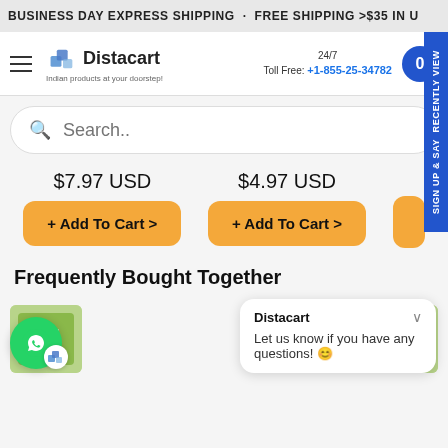BUSINESS DAY EXPRESS SHIPPING . FREE SHIPPING >$35 IN U
Distacart — Indian products at your doorstep! — 24/7 Toll Free: +1-855-25-34782
Search..
$7.97 USD
+ Add To Cart >
$4.97 USD
+ Add To Cart >
Frequently Bought Together
Distacart
Let us know if you have any questions! 😊